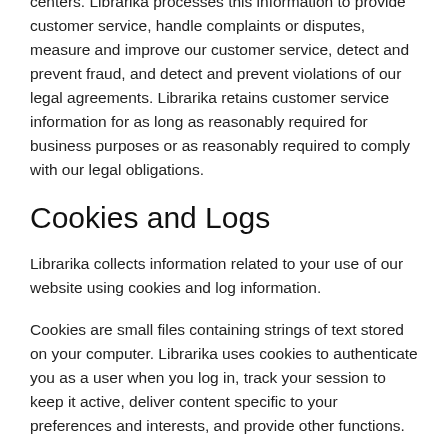centers. Librarika processes this information to provide customer service, handle complaints or disputes, measure and improve our customer service, detect and prevent fraud, and detect and prevent violations of our legal agreements. Librarika retains customer service information for as long as reasonably required for business purposes or as reasonably required to comply with our legal obligations.
Cookies and Logs
Librarika collects information related to your use of our website using cookies and log information.
Cookies are small files containing strings of text stored on your computer. Librarika uses cookies to authenticate you as a user when you log in, track your session to keep it active, deliver content specific to your preferences and interests, and provide other functions.
Log information may include web requests, Internet Protocol address, operating system, browser type, browser language, date and time of your request, and cookies that may uniquely identify your browser. Librarika uses this information to enhance the